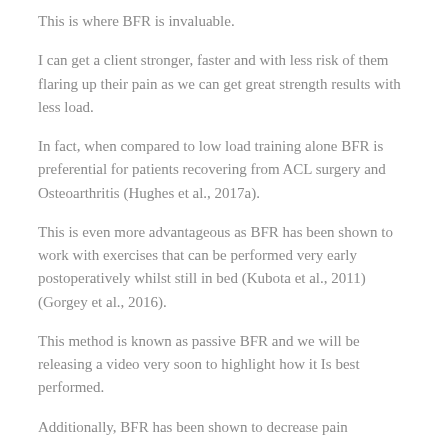This is where BFR is invaluable.
I can get a client stronger, faster and with less risk of them flaring up their pain as we can get great strength results with less load.
In fact, when compared to low load training alone BFR is preferential for patients recovering from ACL surgery and Osteoarthritis (Hughes et al., 2017a).
This is even more advantageous as BFR has been shown to work with exercises that can be performed very early postoperatively whilst still in bed (Kubota et al., 2011)(Gorgey et al., 2016).
This method is known as passive BFR and we will be releasing a video very soon to highlight how it Is best performed.
Additionally, BFR has been shown to decrease pain